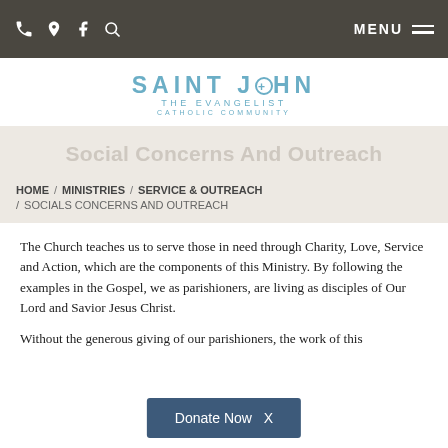MENU — (navigation icons: phone, location, facebook, search)
[Figure (logo): Saint John The Evangelist Catholic Community logo in blue text]
Social Concerns And Outreach
HOME / MINISTRIES / SERVICE & OUTREACH / SOCIALS CONCERNS AND OUTREACH
The Church teaches us to serve those in need through Charity, Love, Service and Action, which are the components of this Ministry.  By following the examples in the Gospel, we as parishioners, are living as disciples of Our Lord and Savior Jesus Christ.
Without the generous giving of our parishioners, the work of this
Donate Now  X